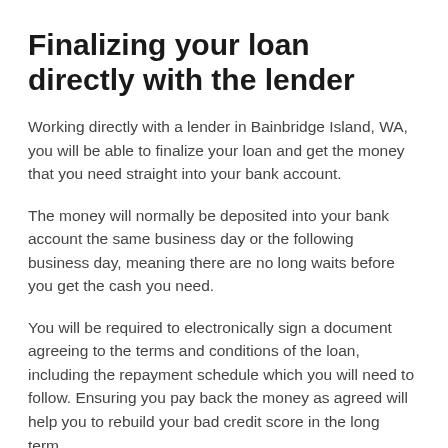Finalizing your loan directly with the lender
Working directly with a lender in Bainbridge Island, WA, you will be able to finalize your loan and get the money that you need straight into your bank account.
The money will normally be deposited into your bank account the same business day or the following business day, meaning there are no long waits before you get the cash you need.
You will be required to electronically sign a document agreeing to the terms and conditions of the loan, including the repayment schedule which you will need to follow. Ensuring you pay back the money as agreed will help you to rebuild your bad credit score in the long term.
You should always make sure that you only borrow the money you can afford to pay back, and that you are able to maintain